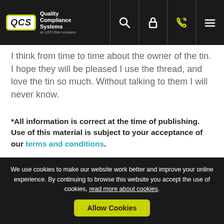QCS — Quality Compliance Systems
I think from time to time about the owner of the tin. I hope they will be pleased I use the thread, and love the tin so much. Without talking to them I will never know.
*All information is correct at the time of publishing. Use of this material is subject to your acceptance of our terms and conditions.
Topics: Care Quality Commission | Inspections | Registration
Abi Spence
We use cookies to make our website work better and improve your online experience. By continuing to browse this website you accept the use of cookies, read more about cookies. Allow Cookies